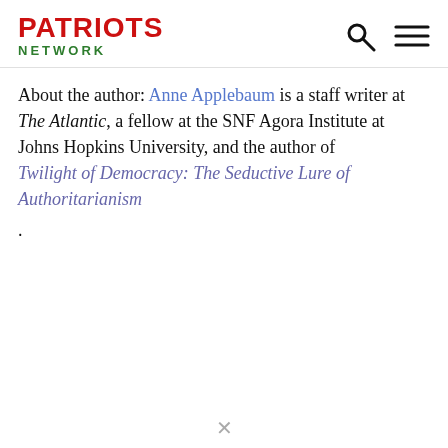PATRIOTS NETWORK
About the author: Anne Applebaum is a staff writer at The Atlantic, a fellow at the SNF Agora Institute at Johns Hopkins University, and the author of Twilight of Democracy: The Seductive Lure of Authoritarianism .